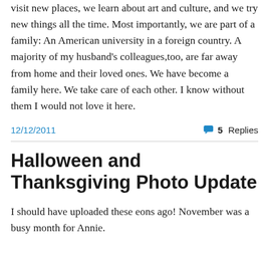visit new places, we learn about art and culture, and we try new things all the time. Most importantly, we are part of a family: An American university in a foreign country. A majority of my husband's colleagues,too, are far away from home and their loved ones. We have become a family here. We take care of each other. I know without them I would not love it here.
12/12/2011
5 Replies
Halloween and Thanksgiving Photo Update
I should have uploaded these eons ago! November was a busy month for Annie.